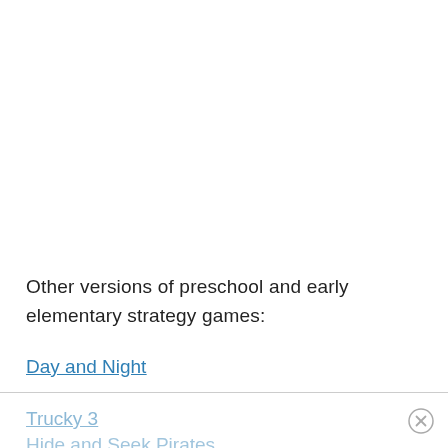Other versions of preschool and early elementary strategy games:
Day and Night
Trucky 3
Hide and Seek Pirates